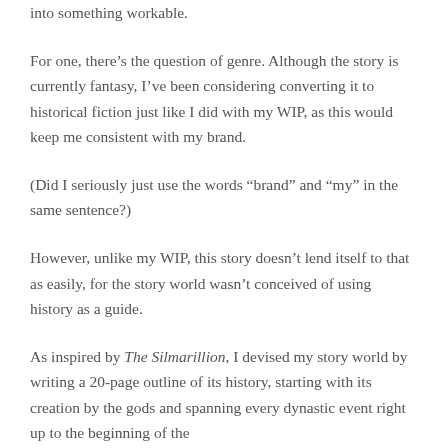into something workable.
For one, there’s the question of genre. Although the story is currently fantasy, I’ve been considering converting it to historical fiction just like I did with my WIP, as this would keep me consistent with my brand.
(Did I seriously just use the words “brand” and “my” in the same sentence?)
However, unlike my WIP, this story doesn’t lend itself to that as easily, for the story world wasn’t conceived of using history as a guide.
As inspired by The Silmarillion, I devised my story world by writing a 20-page outline of its history, starting with its creation by the gods and spanning every dynastic event right up to the beginning of the